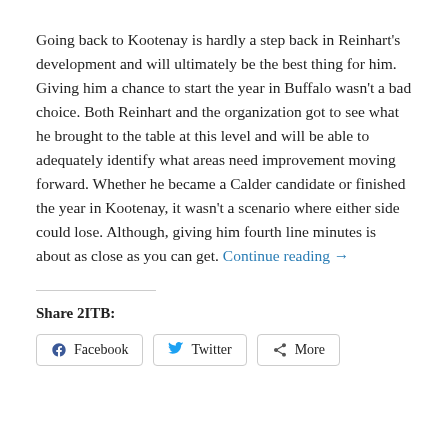Going back to Kootenay is hardly a step back in Reinhart's development and will ultimately be the best thing for him. Giving him a chance to start the year in Buffalo wasn't a bad choice. Both Reinhart and the organization got to see what he brought to the table at this level and will be able to adequately identify what areas need improvement moving forward. Whether he became a Calder candidate or finished the year in Kootenay, it wasn't a scenario where either side could lose. Although, giving him fourth line minutes is about as close as you can get. Continue reading →
Share 2ITB:
Facebook  Twitter  More